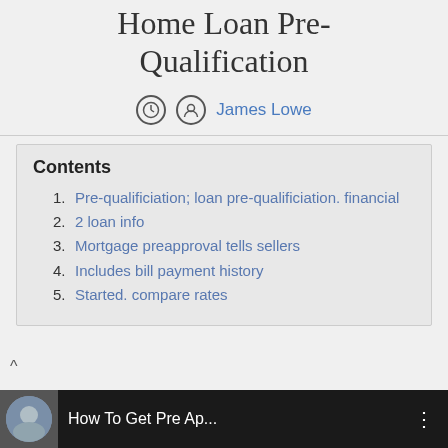Home Loan Pre-Qualification
James Lowe
1. Pre-qualificiation; loan pre-qualificiation. financial
2. 2 loan info
3. Mortgage preapproval tells sellers
4. Includes bill payment history
5. Started. compare rates
[Figure (screenshot): Video thumbnail bar showing 'How To Get Pre Ap...' with a man's photo and three-dot menu icon on dark background]